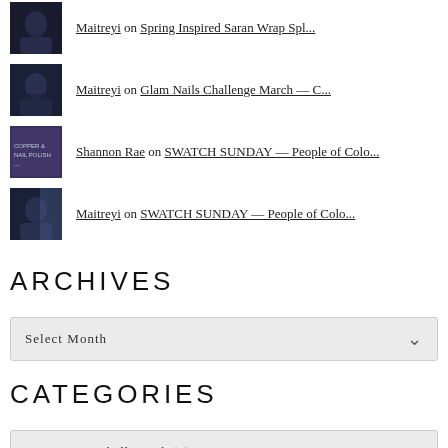Maitreyi on Spring Inspired Saran Wrap Spl...
Maitreyi on Glam Nails Challenge March — C...
Shannon Rae on SWATCH SUNDAY — People of Colo...
Maitreyi on SWATCH SUNDAY — People of Colo...
ARCHIVES
Select Month
CATEGORIES
Winners/Marshalls Find  (4)